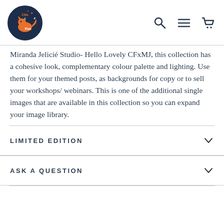Clio & Fox — navigation header with search, menu, and cart icons
Miranda Jelicié Studio- Hello Lovely CFxMJ, this collection has a cohesive look, complementary colour palette and lighting. Use them for your themed posts, as backgrounds for copy or to sell your workshops/ webinars. This is one of the additional single images that are available in this collection so you can expand your image library.
LIMITED EDITION
ASK A QUESTION